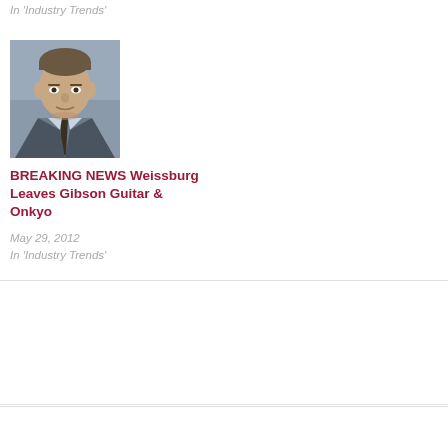In 'Industry Trends'
March 29, 2012
In 'Manufacturers'
[Figure (photo): Headshot of a man in a suit and tie against a grey background]
BREAKING NEWS Weissburg Leaves Gibson Guitar & Onkyo
May 29, 2012
In 'Industry Trends'
FILED UNDER: PEOPLE
TAGGED WITH: BOB WEISSBURG, FIDELITY IMPORTS